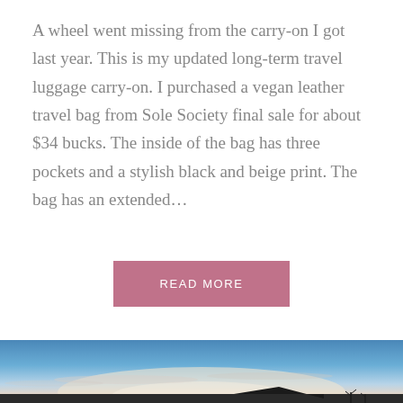A wheel went missing from the carry-on I got last year. This is my updated long-term travel luggage carry-on. I purchased a vegan leather travel bag from Sole Society final sale for about $34 bucks. The inside of the bag has three pockets and a stylish black and beige print. The bag has an extended…
READ MORE
[Figure (photo): Outdoor photo showing a twilight sky with blue gradient fading to a warm glow near the horizon, with silhouettes of bare tree branches and a rooftop visible at the bottom.]